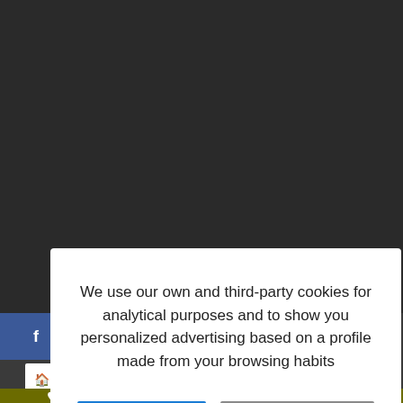[Figure (screenshot): Cookie consent modal dialog overlay on a website. The modal has a white background with a message about cookie usage and two buttons: 'X Accept All' (blue) and 'Customize Cookies' (gray). Behind the modal is a dark overlay covering a webpage with social media share icons (Facebook, Twitter, Pinterest, WhatsApp, LinkedIn) and a Description tab at the bottom.]
We use our own and third-party cookies for analytical purposes and to show you personalized advertising based on a profile made from your browsing habits
X Accept All
Customize Cookies
Description